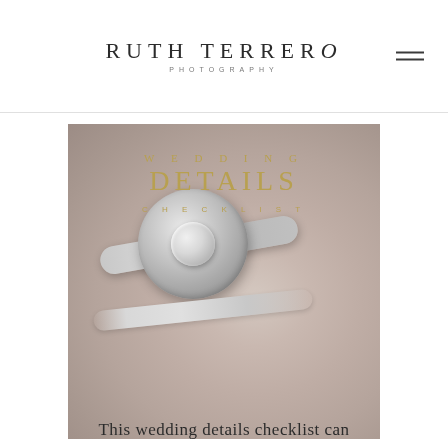RUTH TERRERO PHOTOGRAPHY
[Figure (photo): Wedding rings close-up photo with overlay text reading 'WEDDING DETAILS CHECKLIST' in gold lettering on a soft blush/cream background]
This wedding details checklist can